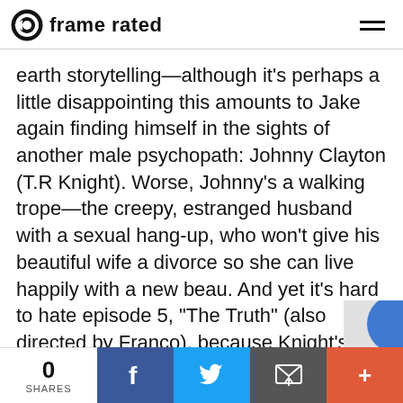frame rated
earth storytelling—although it's perhaps a little disappointing this amounts to Jake again finding himself in the sights of another male psychopath: Johnny Clayton (T.R Knight). Worse, Johnny's a walking trope—the creepy, estranged husband with a sexual hang-up, who won't give his beautiful wife a divorce so she can live happily with a new beau. And yet it's hard to hate episode 5, “The Truth” (also directed by Franco), because Knight's performance is so wonderfully unhinged, and there's a very tense sequence involving Johnny, Sadie, Jake and a glass of bleach. It's also a key turning point in the
0 SHARES | Facebook | Twitter | Email | +